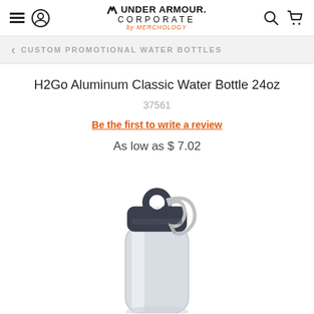Under Armour Corporate by Merchology
CUSTOM PROMOTIONAL WATER BOTTLES
H2Go Aluminum Classic Water Bottle 24oz
37561
Be the first to write a review
As low as $ 7.02
[Figure (photo): Silver aluminum H2Go classic water bottle 24oz with dark gray/navy cap and silver carabiner clip attached to the cap loop.]